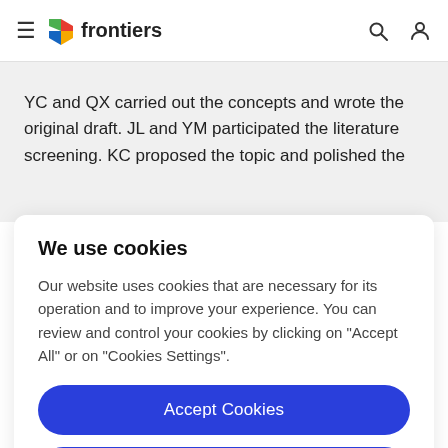frontiers
YC and QX carried out the concepts and wrote the original draft. JL and YM participated the literature screening. KC proposed the topic and polished the
We use cookies
Our website uses cookies that are necessary for its operation and to improve your experience. You can review and control your cookies by clicking on "Accept All" or on "Cookies Settings".
Accept Cookies
Cookies Settings